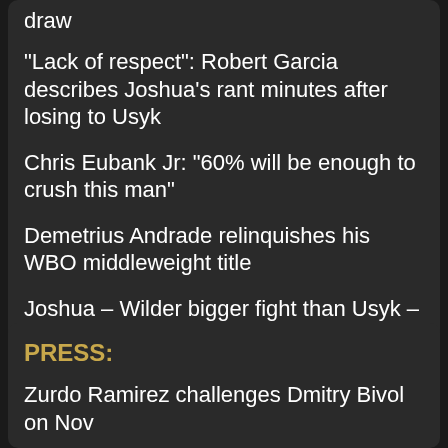draw
“Lack of respect”: Robert Garcia describes Joshua’s rant minutes after losing to Usyk
Chris Eubank Jr: “60% will be enough to crush this man”
Demetrius Andrade relinquishes his WBO middleweight title
Joshua – Wilder bigger fight than Usyk – Fury says Frank Smith
Mike Tyson Vs. Ray Mercer: Who Would Have Won?
PRESS:
Zurdo Ramirez challenges Dmitry Bivol on Nov